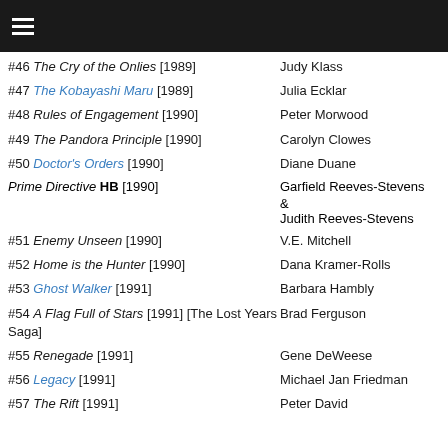≡
#46 The Cry of the Onlies [1989] — Judy Klass
#47 The Kobayashi Maru [1989] — Julia Ecklar
#48 Rules of Engagement [1990] — Peter Morwood
#49 The Pandora Principle [1990] — Carolyn Clowes
#50 Doctor's Orders [1990] — Diane Duane
Prime Directive HB [1990] — Garfield Reeves-Stevens & Judith Reeves-Stevens
#51 Enemy Unseen [1990] — V.E. Mitchell
#52 Home is the Hunter [1990] — Dana Kramer-Rolls
#53 Ghost Walker [1991] — Barbara Hambly
#54 A Flag Full of Stars [1991] [The Lost Years Saga] — Brad Ferguson
#55 Renegade [1991] — Gene DeWeese
#56 Legacy [1991] — Michael Jan Friedman
#57 The Rift [1991] — Peter David